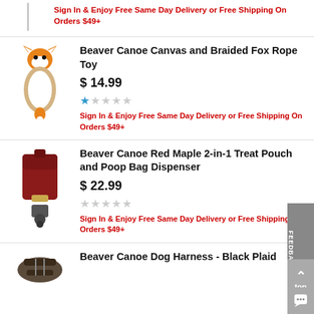Sign In & Enjoy Free Same Day Delivery or Free Shipping On Orders $49+
Beaver Canoe Canvas and Braided Fox Rope Toy
$ 14.99
1 out of 5 stars
Sign In & Enjoy Free Same Day Delivery or Free Shipping On Orders $49+
Beaver Canoe Red Maple 2-in-1 Treat Pouch and Poop Bag Dispenser
$ 22.99
0 out of 5 stars
Sign In & Enjoy Free Same Day Delivery or Free Shipping On Orders $49+
Beaver Canoe Dog Harness - Black Plaid